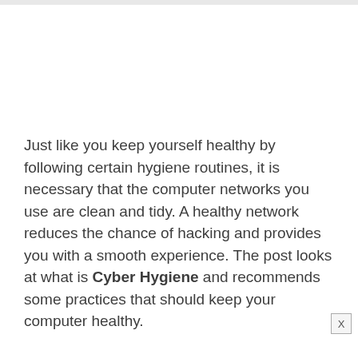Just like you keep yourself healthy by following certain hygiene routines, it is necessary that the computer networks you use are clean and tidy. A healthy network reduces the chance of hacking and provides you with a smooth experience. The post looks at what is Cyber Hygiene and recommends some practices that should keep your computer healthy.